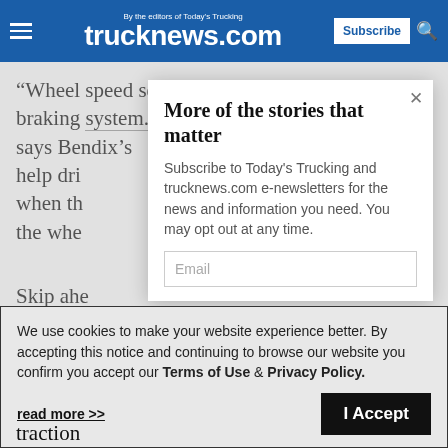trucknews.com — By the editors of Today's Trucking
“Wheel speed sensors did two things for the braking system. It made it more and a basin” says Bendix’s help dri when the the whe
Skip ahe sensors
[Figure (screenshot): Newsletter subscription modal popup with title 'More of the stories that matter', body text 'Subscribe to Today’s Trucking and trucknews.com e-newsletters for the news and information you need. You may opt out at any time.', an email input field, and a close (x) button.]
We use cookies to make your website experience better. By accepting this notice and continuing to browse our website you confirm you accept our Terms of Use & Privacy Policy.
read more >>
traction